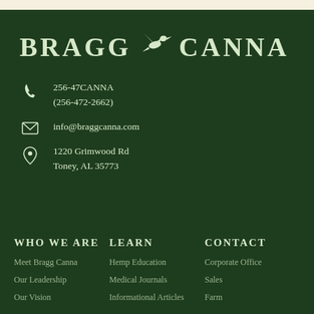BRAGG CANNA
256-47CANNA
(256-472-2662)
info@braggcanna.com
1220 Grimwood Rd
Toney, AL 35773
WHO WE ARE
LEARN
CONTACT
Meet Bragg Canna
Our Leadership
Our Vision
Hemp Education
Medical Journals
Informational Articles
Corporate Office
Sales
Farm